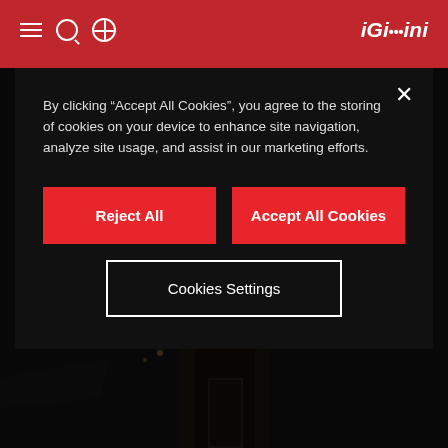[Figure (screenshot): Website screenshot showing a red navigation bar at the top with hamburger menu, search, and globe icons on the left, and a logo on the right. Below is a dark architectural building photo showing a modern multi-story building with glass facades and illuminated interior, viewed from an elevated angle at night/dusk.]
By clicking “Accept All Cookies”, you agree to the storing of cookies on your device to enhance site navigation, analyze site usage, and assist in our marketing efforts.
Reject All
Accept All Cookies
Cookies Settings